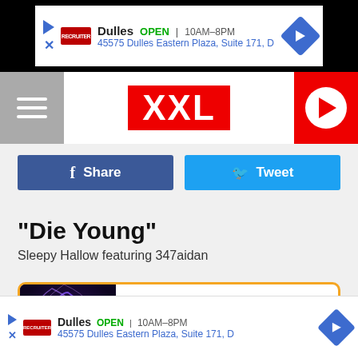[Figure (screenshot): Top advertisement banner: Dulles store OPEN 10AM-8PM, 45575 Dulles Eastern Plaza, Suite 171, D with navigation icon]
[Figure (logo): XXL magazine logo in red box with white text, hamburger menu on left, red play button on right]
[Figure (screenshot): Facebook Share button (dark blue) and Twitter Tweet button (light blue)]
"Die Young"
Sleepy Hallow featuring 347aidan
[Figure (screenshot): Amazon music card with album art (purple/dark fantasy illustration), title 'Die Young [Explicit]', and 'Buy Now From Amazon $1.29' orange button]
[Figure (screenshot): Bottom advertisement banner: Dulles store OPEN 10AM-8PM, 45575 Dulles Eastern Plaza, Suite 171, D with navigation icon]